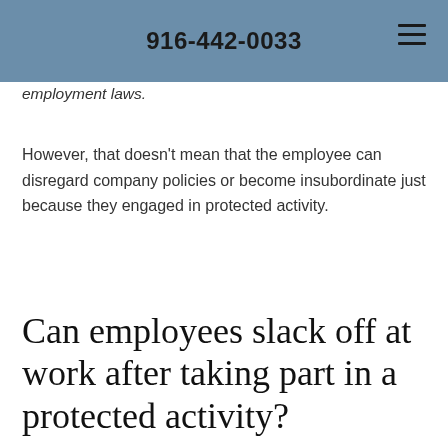916-442-0033
employment laws.
However, that doesn't mean that the employee can disregard company policies or become insubordinate just because they engaged in protected activity.
Can employees slack off at work after taking part in a protected activity?
Employees still have to meet their job duties and expectations even if they've taken part in a protected activity. Employers should keep...